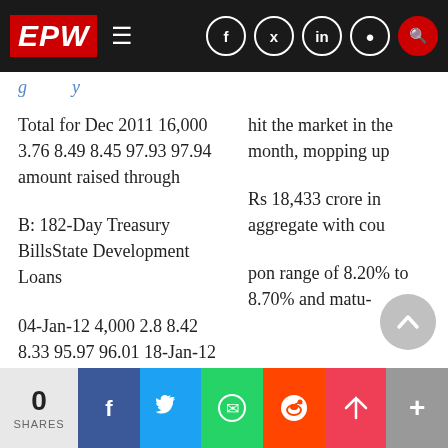EPW
Total for Dec 2011 16,000 3.76 8.49 8.45 97.93 97.94 amount raised through
hit the market in the month, mopping up
B: 182-Day Treasury BillsState Development Loans
Rs 18,433 crore in aggregate with cou
04-Jan-12 4,000 2.8 8.42 8.33 95.97 96.01 18-Jan-12 4,000 2.8 8.55 8.51 95.91 95.93 (SDLs) in two auctions on
pon range of 8.20% to 8.70% and matu-
0 SHARES